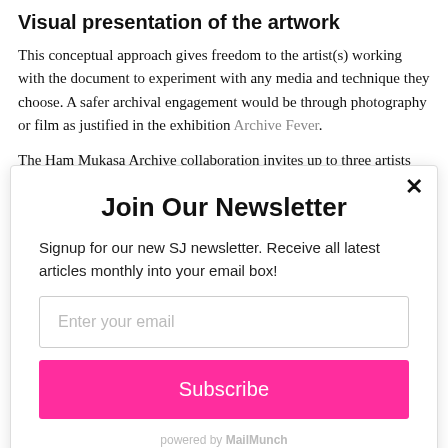Visual presentation of the artwork
This conceptual approach gives freedom to the artist(s) working with the document to experiment with any media and technique they choose. A safer archival engagement would be through photography or film as justified in the exhibition Archive Fever.
The Ham Mukasa Archive collaboration invites up to three artists
Join Our Newsletter
Signup for our new SJ newsletter. Receive all latest articles monthly into your email box!
Enter your email
Subscribe
powered by MailMunch